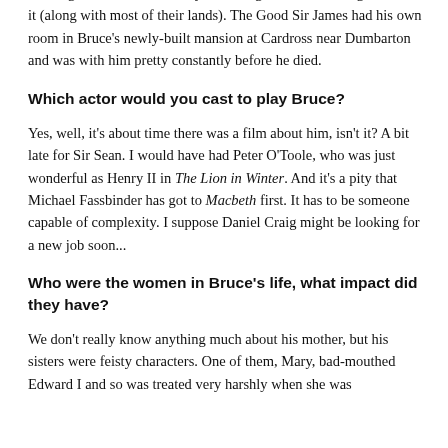the king, of an emerald. Sadly, the Douglases have managed to lose it (along with most of their lands). The Good Sir James had his own room in Bruce's newly-built mansion at Cardross near Dumbarton and was with him pretty constantly before he died.
Which actor would you cast to play Bruce?
Yes, well, it's about time there was a film about him, isn't it? A bit late for Sir Sean. I would have had Peter O'Toole, who was just wonderful as Henry II in The Lion in Winter. And it's a pity that Michael Fassbinder has got to Macbeth first. It has to be someone capable of complexity. I suppose Daniel Craig might be looking for a new job soon...
Who were the women in Bruce's life, what impact did they have?
We don't really know anything much about his mother, but his sisters were feisty characters. One of them, Mary, bad-mouthed Edward I and so was treated very harshly when she was